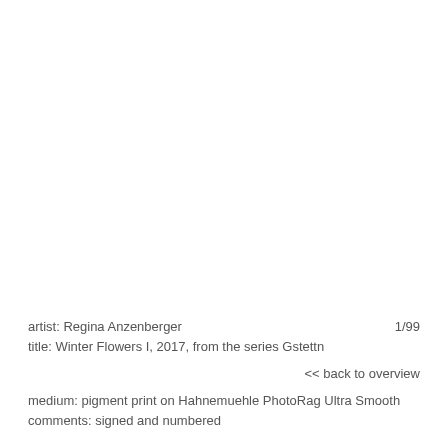artist: Regina Anzenberger
title: Winter Flowers I, 2017, from the series Gstettn
1/99
<< back to overview
medium: pigment print on Hahnemuehle PhotoRag Ultra Smooth
comments: signed and numbered